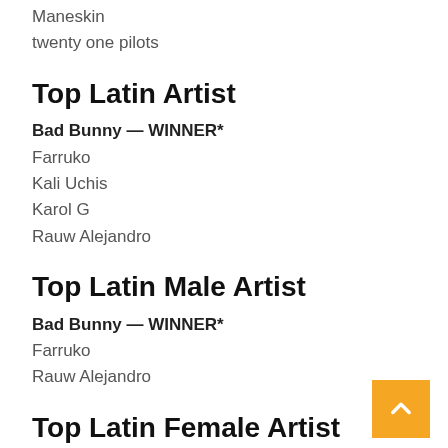Maneskin
twenty one pilots
Top Latin Artist
Bad Bunny — WINNER*
Farruko
Kali Uchis
Karol G
Rauw Alejandro
Top Latin Male Artist
Bad Bunny — WINNER*
Farruko
Rauw Alejandro
Top Latin Female Artist
Kali Uchis — WINNER*